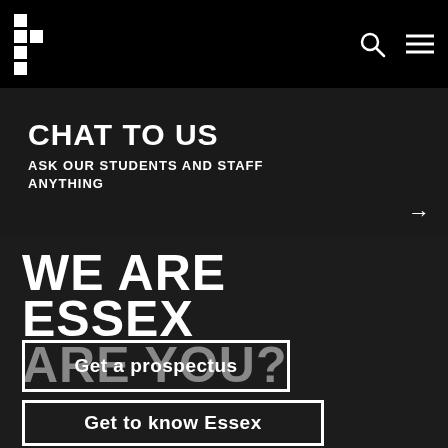University of Essex navigation bar with logo, search and menu icons
CHAT TO US
ASK OUR STUDENTS AND STAFF ANYTHING
WE ARE ESSEX ARE YOU?
Get a prospectus
Get to know Essex